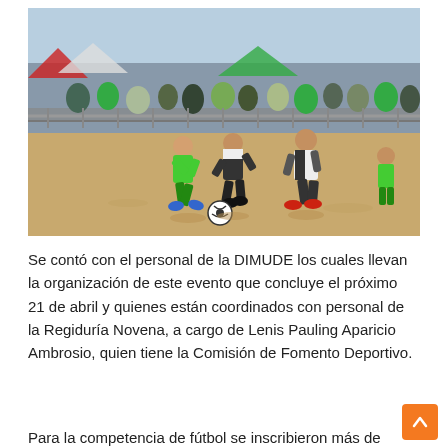[Figure (photo): Beach soccer match with young players in green and black-and-white jerseys competing on sandy beach. Spectators watch behind metal barriers in the background. Ocean and blue sky visible.]
Se contó con el personal de la DIMUDE los cuales llevan la organización de este evento que concluye el próximo 21 de abril y quienes están coordinados con personal de la Regiduría Novena, a cargo de Lenis Pauling Aparicio Ambrosio, quien tiene la Comisión de Fomento Deportivo.
Para la competencia de fútbol se inscribieron más de